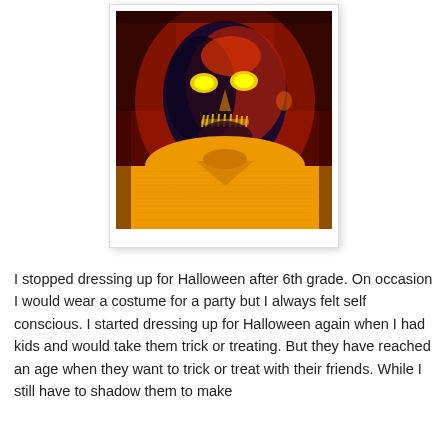[Figure (photo): A man with Halloween-themed face paint or digital filter applied, making his face appear skull-like with glowing yellow eyes, dark and red tones. He is wearing an orange/yellow sweater. The image is displayed as a Polaroid-style photo with white border and slight shadow.]
I stopped dressing up for Halloween after 6th grade. On occasion I would wear a costume for a party but I always felt self conscious. I started dressing up for Halloween again when I had kids and would take them trick or treating. But they have reached an age when they want to trick or treat with their friends. While I still have to shadow them to make